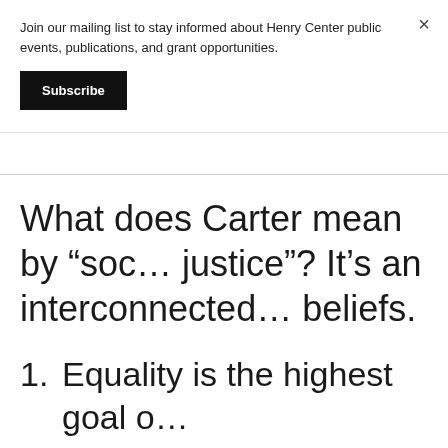Join our mailing list to stay informed about Henry Center public events, publications, and grant opportunities.
Subscribe
What does Carter mean by “social justice”? It’s an interconnected beliefs.
1. Equality is the highest goal o…
2. Equality is best defined in terms of equal economic opportunity…